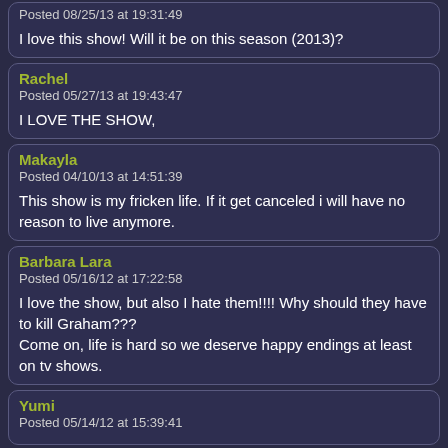Posted 08/25/13 at 19:31:49

I love this show! Will it be on this season (2013)?
Rachel
Posted 05/27/13 at 19:43:47

I LOVE THE SHOW,
Makayla
Posted 04/10/13 at 14:51:39

This show is my fricken life. If it get canceled i will have no reason to live anymore.
Barbara Lara
Posted 05/16/12 at 17:22:58

I love the show, but also I hate them!!!! Why should they have to kill Graham???
Come on, life is hard so we deserve happy endings at least on tv shows.
Yumi
Posted 05/14/12 at 15:39:41